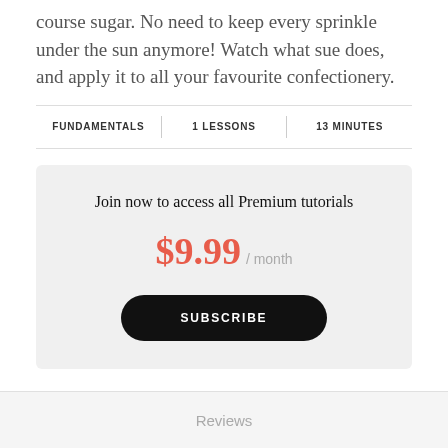course sugar.  No need to keep every sprinkle under the sun anymore!  Watch what sue does, and apply it to all your favourite confectionery.
FUNDAMENTALS | 1 LESSONS | 13 MINUTES
Join now to access all Premium tutorials
$9.99 / month
SUBSCRIBE
Reviews